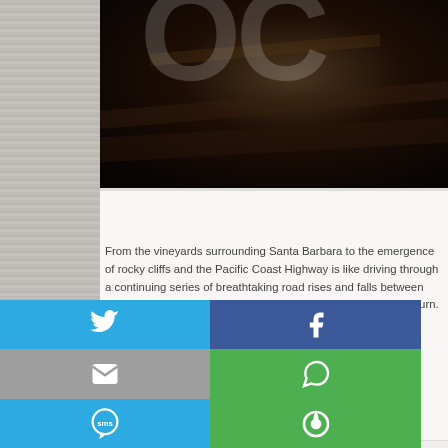[Figure (photo): Dark mountainous landscape photo at top of page, partially visible]
From the vineyards surrounding Santa Barbara to the emergence of rocky cliffs and the Pacific Coast Highway is like driving through a continuing series of breathtaking road rises and falls between beaches and hill top vistas, while winding along the co- every turn.
[Figure (photo): Road sign photo showing 'OLLO HWY' highway sign against a light background]
[Figure (infographic): Social sharing buttons grid: Twitter (blue), Facebook (dark blue), Email (grey), WhatsApp (green), SMS (blue), other share option (green)]